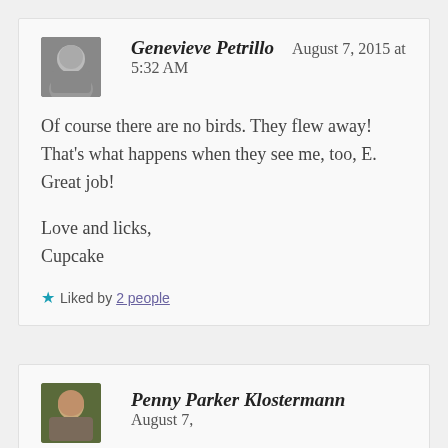Genevieve Petrillo  August 7, 2015 at 5:32 AM
Of course there are no birds. They flew away! That's what happens when they see me, too, E. Great job!

Love and licks,
Cupcake
★ Liked by 2 people
Penny Parker Klostermann  August 7,